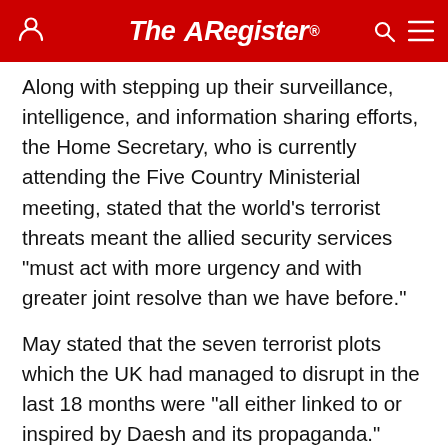The Register
Along with stepping up their surveillance, intelligence, and information sharing efforts, the Home Secretary, who is currently attending the Five Country Ministerial meeting, stated that the world's terrorist threats meant the allied security services “must act with more urgency and with greater joint resolve than we have before.”
May stated that the seven terrorist plots which the UK had managed to disrupt in the last 18 months were “all either linked to or inspired by Daesh and its propaganda.”
[Figure (logo): The Register logo on dark red background advertisement banner]